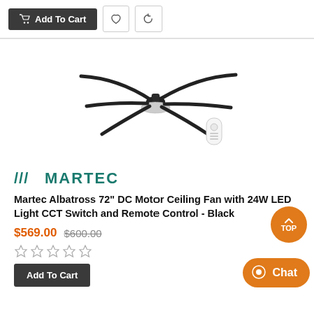[Figure (screenshot): Top bar with Add To Cart button, heart icon, and refresh icon]
[Figure (photo): Martec Albatross ceiling fan with 6 blades in black finish and a remote control, shown from above]
[Figure (logo): Martec brand logo with triple slash and MARTEC text in teal/dark green]
Martec Albatross 72" DC Motor Ceiling Fan with 24W LED Light CCT Switch and Remote Control - Black
$569.00 $600.00
☆☆☆☆☆